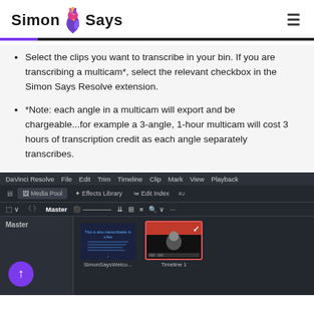Simon Says
Select the clips you want to transcribe in your bin. If you are transcribing a multicam*, select the relevant checkbox in the Simon Says Resolve extension.
*Note: each angle in a multicam will export and be chargeable...for example a 3-angle, 1-hour multicam will cost 3 hours of transcription credit as each angle separately transcribes.
[Figure (screenshot): DaVinci Resolve Media Pool interface showing Master bin with two clips: SimonSaysWelco... and Timeline 1. A purple upload button is visible in the bin panel.]